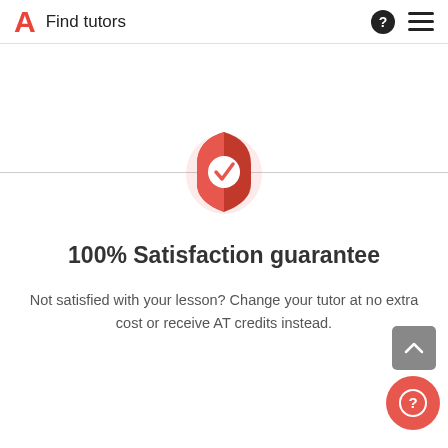A  Find tutors
[Figure (illustration): A red shield icon with a white checkmark in the center, centered on a horizontal divider line. There is a light pink glow around the shield.]
100% Satisfaction guarantee
Not satisfied with your lesson? Change your tutor at no extra cost or receive AT credits instead.